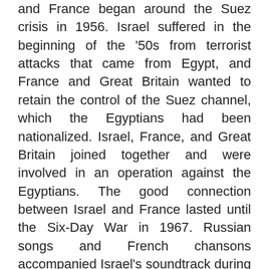and France began around the Suez crisis in 1956. Israel suffered in the beginning of the '50s from terrorist attacks that came from Egypt, and France and Great Britain wanted to retain the control of the Suez channel, which the Egyptians had been nationalized. Israel, France, and Great Britain joined together and were involved in an operation against the Egyptians. The good connection between Israel and France lasted until the Six-Day War in 1967. Russian songs and French chansons accompanied Israel's soundtrack during the '50s and the '60s. This song was very popular in Israel and yet not many Israelis know that it is